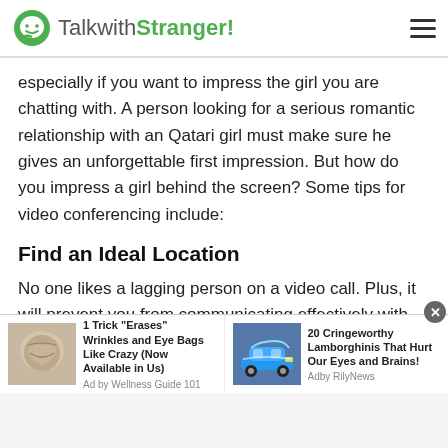TalkwithStranger!
especially if you want to impress the girl you are chatting with. A person looking for a serious romantic relationship with an Qatari girl must make sure he gives an unforgettable first impression. But how do you impress a girl behind the screen? Some tips for video conferencing include:
Find an Ideal Location
No one likes a lagging person on a video call. Plus, it will prevent you from communicating effectively with the person behind the screen. Hence, make sure you are
[Figure (infographic): Ad bar with two advertisements: '1 Trick "Erases" Wrinkles and Eye Bags Like Crazy (Now Available in Us)' by Wellness Guide 101, and '20 Cringeworthy Lamborghinis That Hurt Our Eyes and Brains!' by RilyNews. Each ad has a thumbnail image and close button.]